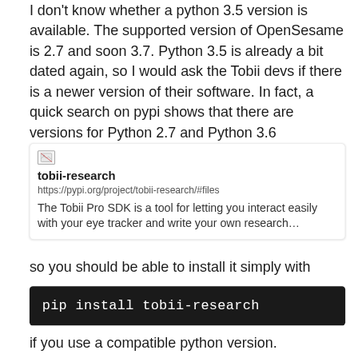I don't know whether a python 3.5 version is available. The supported version of OpenSesame is 2.7 and soon 3.7. Python 3.5 is already a bit dated again, so I would ask the Tobii devs if there is a newer version of their software. In fact, a quick search on pypi shows that there are versions for Python 2.7 and Python 3.6
[Figure (screenshot): Link card preview for tobii-research on pypi.org showing title 'tobii-research', URL 'https://pypi.org/project/tobii-research/#files', and description 'The Tobii Pro SDK is a tool for letting you interact easily with your eye tracker and write your own research...']
so you should be able to install it simply with
pip install tobii-research
if you use a compatible python version.
[Figure (screenshot): Bottom blue bar with icons, partially visible]